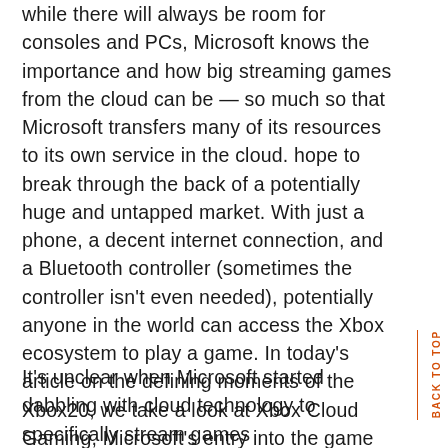while there will always be room for consoles and PCs, Microsoft knows the importance and how big streaming games from the cloud can be — so much so that Microsoft transfers many of its resources to its own service in the cloud. hope to break through the back of a potentially huge and untapped market. With just a phone, a decent internet connection, and a Bluetooth controller (sometimes the controller isn't even needed), potentially anyone in the world can access the Xbox ecosystem to play a game. In today's article on the defining moments of the Xbox20, we take a look at Xbox Cloud Gaming, Microsoft's entry into the game streaming space.
It's unclear when Microsoft started dabbling with cloud technology to specifically stream games